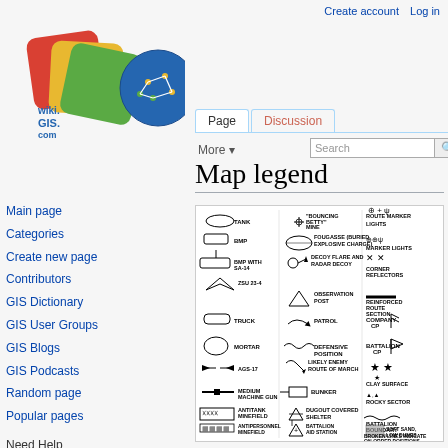Create account   Log in
[Figure (logo): Wiki.GIS.com logo with colored overlapping cards and a circular GIS network globe icon]
Map legend
[Figure (illustration): Military map legend table showing symbols and labels for: Tank, BMP, BMP with SA-14, ZSU 23-4, Truck, Mortar, AGS-17, Medium Machine Gun, Antitank Minefield, Antipersonnel Minefield, Mixed Minefield, Remotely Delivered Mine (RDM) Minefield, 'Bouncing Betty' Mine, Fougasse (Buried Explosive Charge), Decoy Flare and Radar Decoy, Observation Post, Patrol, Defensive Position, Likely Enemy Route of March, Bunker, Dugout Covered Shelter, Battalion Aid Station, Battalion Field Mess, Ration Stores, Water Point, Route Marker Lights, Marker Lights, Corner Reflectors, Reinforced Route Section, Company CP, Battalion CP, Clay Surface, Rocky Sector, Battalion Boundary, Soft Sand Low Dunes, Salt Flat, Salt Lake, Broken Lines Indicate On-Order Positions]
Main page
Categories
Create new page
Contributors
GIS Dictionary
GIS User Groups
GIS Blogs
GIS Podcasts
Random page
Popular pages
Need Help
Contact us
About Wiki.GIS